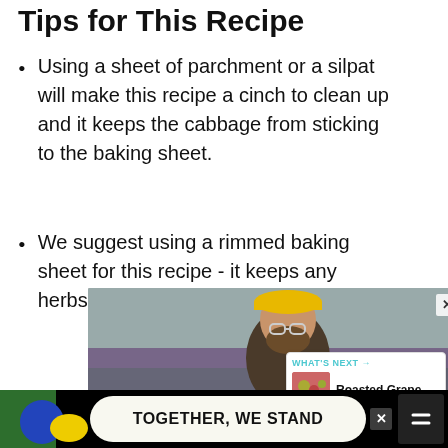Tips for This Recipe
Using a sheet of parchment or a silpat will make this recipe a cinch to clean up and it keeps the cabbage from sticking to the baking sheet.
We suggest using a rimmed baking sheet for this recipe - it keeps any herbs or oil from spilling into your oven.
[Figure (photo): Advertisement showing a construction worker wearing a yellow hard hat and safety glasses, with text overlay 'IT'S UP TO YOU COVID-19 VACCINATION']
[Figure (infographic): What's Next card showing roasted grape dish with label 'WHAT'S NEXT → Roasted Grape...']
[Figure (infographic): Advertisement banner with colorful shapes and text 'TOGETHER, WE STAND']